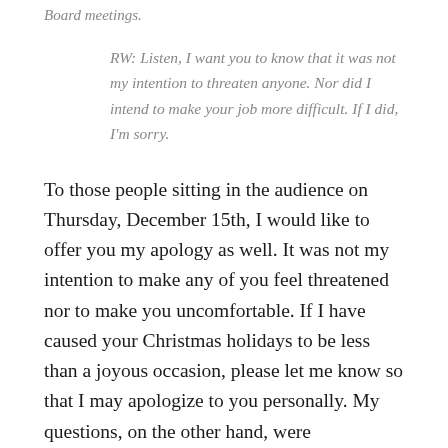Board meetings.
RW: Listen, I want you to know that it was not my intention to threaten anyone. Nor did I intend to make your job more difficult. If I did, I'm sorry.
To those people sitting in the audience on Thursday, December 15th, I would like to offer you my apology as well. It was not my intention to make any of you feel threatened nor to make you uncomfortable. If I have caused your Christmas holidays to be less than a joyous occasion, please let me know so that I may apologize to you personally. My questions, on the other hand, were specifically intended to make the board uncomfortable. It seems that it worked.